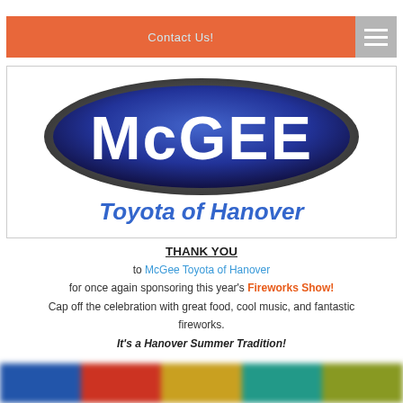Contact Us!
[Figure (logo): McGee Toyota of Hanover logo — dark blue oval badge with white MCGEE text, blue italic 'Toyota of Hanover' below]
THANK YOU
to McGee Toyota of Hanover
for once again sponsoring this year's Fireworks Show!
Cap off the celebration with great food, cool music, and fantastic fireworks.
It's a Hanover Summer Tradition!
[Figure (other): Blurred colorful banner strips at bottom of page]